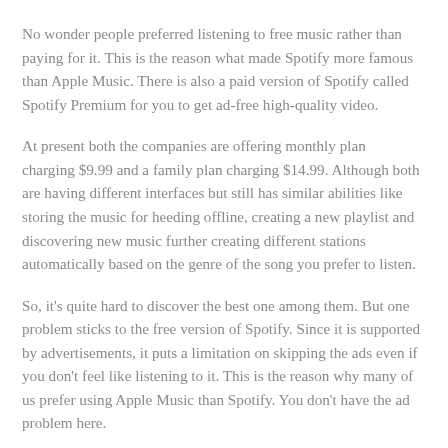No wonder people preferred listening to free music rather than paying for it. This is the reason what made Spotify more famous than Apple Music. There is also a paid version of Spotify called Spotify Premium for you to get ad-free high-quality video.
At present both the companies are offering monthly plan charging $9.99 and a family plan charging $14.99. Although both are having different interfaces but still has similar abilities like storing the music for heeding offline, creating a new playlist and discovering new music further creating different stations automatically based on the genre of the song you prefer to listen.
So, it's quite hard to discover the best one among them. But one problem sticks to the free version of Spotify. Since it is supported by advertisements, it puts a limitation on skipping the ads even if you don't feel like listening to it. This is the reason why many of us prefer using Apple Music than Spotify. You don't have the ad problem here.